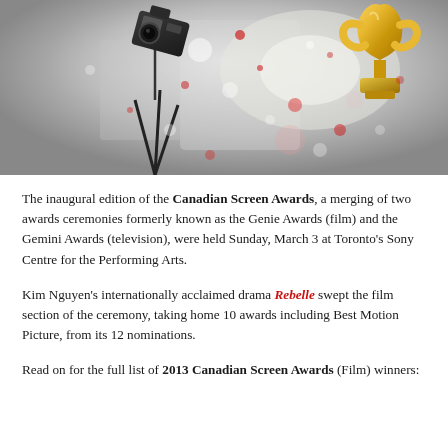[Figure (photo): Awards ceremony photo showing a camera/tripod on the left and a gold trophy/award statue on the right, with a blurred grey background and scattered red and white bokeh dots]
The inaugural edition of the Canadian Screen Awards, a merging of two awards ceremonies formerly known as the Genie Awards (film) and the Gemini Awards (television), were held Sunday, March 3 at Toronto's Sony Centre for the Performing Arts.
Kim Nguyen's internationally acclaimed drama Rebelle swept the film section of the ceremony, taking home 10 awards including Best Motion Picture, from its 12 nominations.
Read on for the full list of 2013 Canadian Screen Awards (Film) winners: